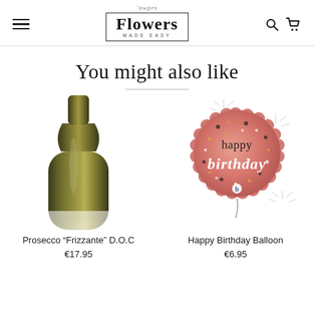Flowers Made Easy — navigation header with logo, hamburger menu, search and cart icons
You might also like
[Figure (photo): Prosecco Frizzante bottle, close-up of dark green/olive bottle neck and body]
Prosecco “Frizzante” D.O.C
€17.95
[Figure (photo): Round rose-gold happy birthday balloon with confetti dots pattern and white script text reading 'happy birthday', with sparkle effects]
Happy Birthday Balloon
€6.95